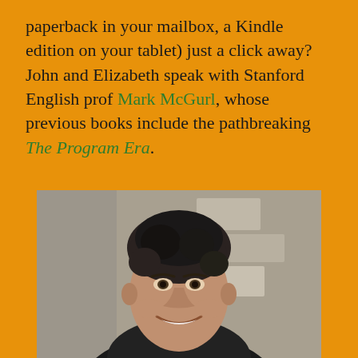paperback in your mailbox, a Kindle edition on your tablet) just a click away? John and Elizabeth speak with Stanford English prof Mark McGurl, whose previous books include the pathbreaking The Program Era.
[Figure (photo): Black and white portrait photograph of Mark McGurl, a middle-aged man with tousled dark hair, smiling, wearing a dark shirt, photographed against a stone wall background.]